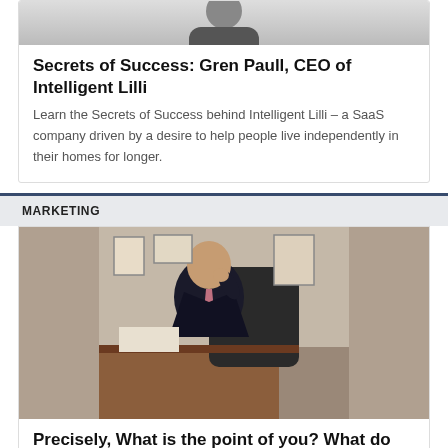[Figure (photo): Top portion of a person in a dark suit, cropped photo at top of card]
Secrets of Success: Gren Paull, CEO of Intelligent Lilli
Learn the Secrets of Success behind Intelligent Lilli – a SaaS company driven by a desire to help people live independently in their homes for longer.
MARKETING
[Figure (photo): Middle-aged man in a dark pinstripe suit with pink tie, seated at a desk in an office, talking on phone]
Precisely, What is the point of you? What do you